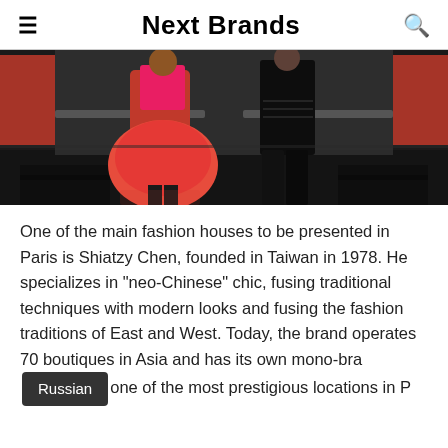Next Brands
[Figure (photo): Fashion runway photo showing two models: one wearing a voluminous red fur coat/dress with red accessories, and another in a black outfit, walking on a dark runway with orange accent panels in the background.]
One of the main fashion houses to be presented in Paris is Shiatzy Chen, founded in Taiwan in 1978. He specializes in "neo-Chinese" chic, fusing traditional techniques with modern looks and fusing the fashion traditions of East and West. Today, the brand operates 70 boutiques in Asia and has its own mono-bra[nd in] one of the most prestigious locations in [Paris]